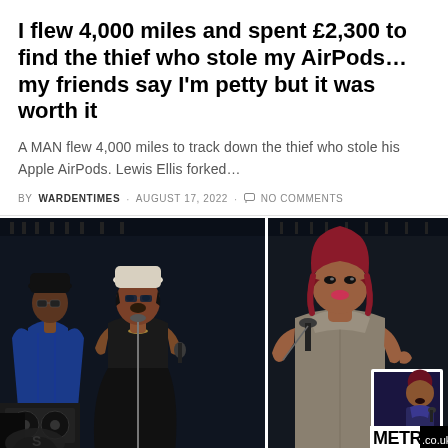I flew 4,000 miles and spent £2,300 to find the thief who stole my AirPods... my friends say I'm petty but it was worth it
A MAN flew 4,000 miles to track down the thief who stole his Apple AirPods. Lewis Ellis forked...
BY WARDENTIMES · AUGUST 17, 2022 · NO COMMENTS
[Figure (photo): Concert photo showing performers on stage — a man in a blue jacket on the left, a woman singing into a microphone in the center, and a woman with red/purple hair singing on the right side. A small inset photo appears in the bottom right showing another performer. The Metro.co.uk logo is visible in the bottom right corner.]